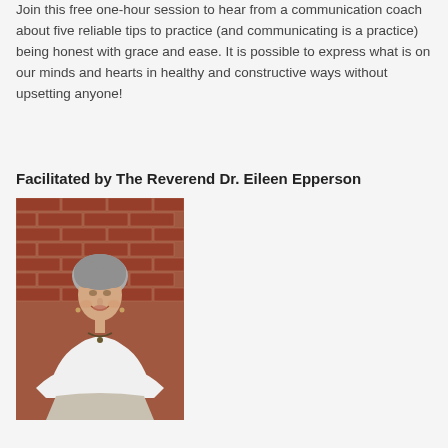Join this free one-hour session to hear from a communication coach about five reliable tips to practice (and communicating is a practice) being honest with grace and ease. It is possible to express what is on our minds and hearts in healthy and constructive ways without upsetting anyone!
Facilitated by The Reverend Dr. Eileen Epperson
[Figure (photo): Portrait photo of The Reverend Dr. Eileen Epperson, a woman with short grey hair, wearing a white top and necklace, seated and smiling in front of a red brick wall background.]